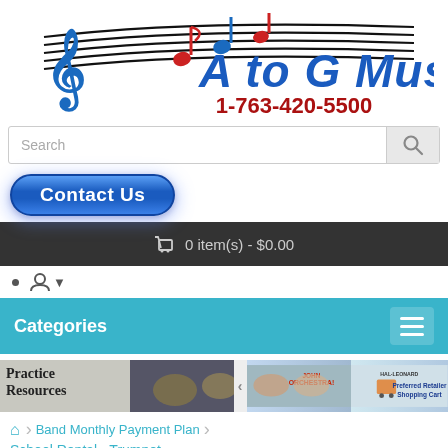[Figure (logo): A to G Music logo with treble clef, music notes on staff lines, text 'A to G Music' in blue and phone number '1-763-420-5500' in red]
Search
[Figure (illustration): Blue rounded rectangle Contact Us button with white bold text]
🛒 0 item(s) - $0.00
[Figure (illustration): User account icon with dropdown arrow]
Categories
[Figure (photo): Banner strip with Practice Resources text on left, band instruments image in middle, orchestra image and Hal Leonard Preferred Retailer Shopping Cart on right]
Band Monthly Payment Plan
School Rental - Trumpet